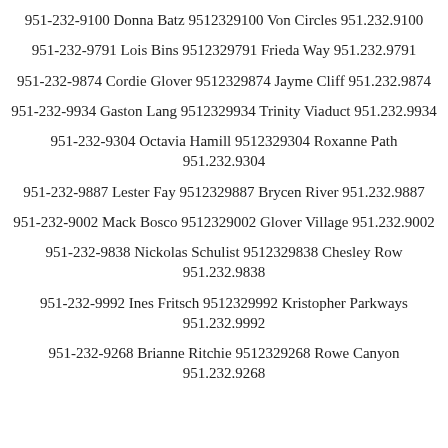951-232-9100 Donna Batz 9512329100 Von Circles 951.232.9100
951-232-9791 Lois Bins 9512329791 Frieda Way 951.232.9791
951-232-9874 Cordie Glover 9512329874 Jayme Cliff 951.232.9874
951-232-9934 Gaston Lang 9512329934 Trinity Viaduct 951.232.9934
951-232-9304 Octavia Hamill 9512329304 Roxanne Path 951.232.9304
951-232-9887 Lester Fay 9512329887 Brycen River 951.232.9887
951-232-9002 Mack Bosco 9512329002 Glover Village 951.232.9002
951-232-9838 Nickolas Schulist 9512329838 Chesley Row 951.232.9838
951-232-9992 Ines Fritsch 9512329992 Kristopher Parkways 951.232.9992
951-232-9268 Brianne Ritchie 9512329268 Rowe Canyon 951.232.9268